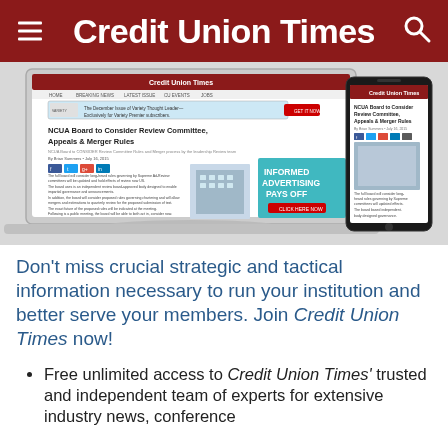Credit Union Times
[Figure (screenshot): Screenshot of Credit Union Times website displayed on a laptop and a smartphone, showing an article headline 'NCUA Board to Consider Review Committee, Appeals & Merger Rules' and an ad for 'Informed Advertising Pays Off'.]
Don't miss crucial strategic and tactical information necessary to run your institution and better serve your members. Join Credit Union Times now!
Free unlimited access to Credit Union Times' trusted and independent team of experts for extensive industry news, conference